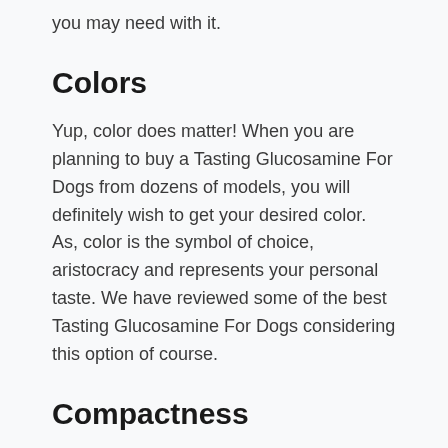you may need with it.
Colors
Yup, color does matter! When you are planning to buy a Tasting Glucosamine For Dogs from dozens of models, you will definitely wish to get your desired color. As, color is the symbol of choice, aristocracy and represents your personal taste. We have reviewed some of the best Tasting Glucosamine For Dogs considering this option of course.
Compactness
A Tasting Glucosamine For Dogs is highly compact